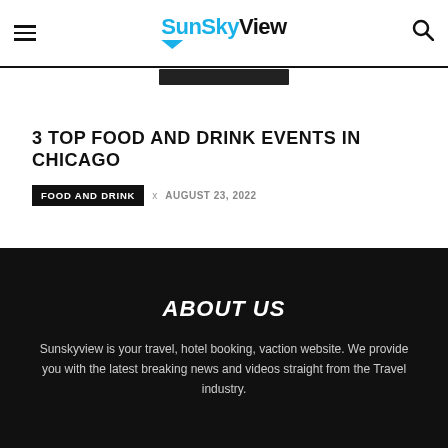SunSkyView
3 TOP FOOD AND DRINK EVENTS IN CHICAGO
FOOD AND DRINK  x  AUGUST 23, 2022
ABOUT US
Sunskyview is your travel, hotel booking, vaction website. We provide you with the latest breaking news and videos straight from the Travel industry.